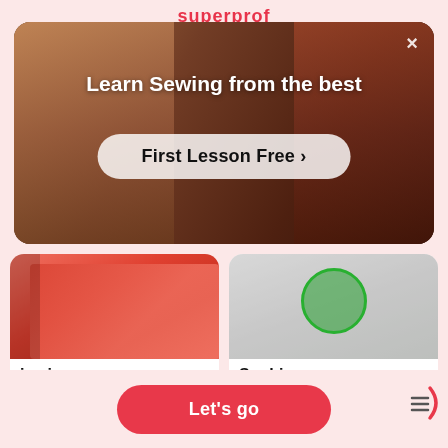superprof
[Figure (screenshot): Modal overlay showing 'Learn Sewing from the best' with a 'First Lesson Free >' button, displayed over a blurred background photo of a person sewing. Close (×) button in top right corner.]
[Figure (photo): Tutor profile photo for jamie rae, showing a person in a red/coral top with black straps.]
jamie rae
$42/h  🏠1st lesson free!
[Figure (photo): Tutor profile photo for Sophie, showing a person in a white t-shirt with a green circular '#VoiceForNature' badge.]
Sophie
$20/h  🏠1st lesson free!
Let's go